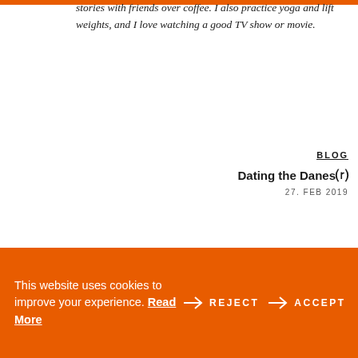stories with friends over coffee. I also practice yoga and lift weights, and I love watching a good TV show or movie.
BLOG
Dating the DanesⓈ
27. FEB 2019
BLOG
This website uses cookies to improve your experience. Read More → REJECT → ACCEPT